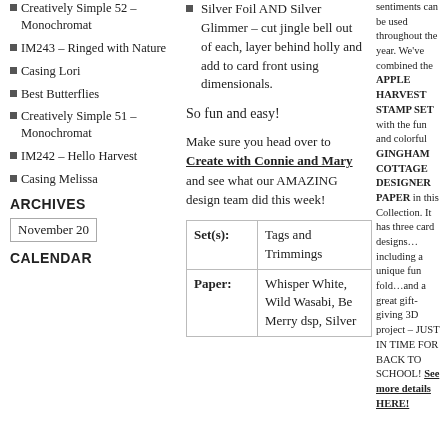Creatively Simple 52 – Monochromat
IM243 – Ringed with Nature
Casing Lori
Best Butterflies
Creatively Simple 51 – Monochromat
IM242 – Hello Harvest
Casing Melissa
ARCHIVES
November 20
CALENDAR
Silver Foil AND Silver Glimmer – cut jingle bell out of each, layer behind holly and add to card front using dimensionals.
So fun and easy!
Make sure you head over to Create with Connie and Mary and see what our AMAZING design team did this week!
| Set(s): | Tags and Trimmings |
| --- | --- |
| Paper: | Whisper White, Wild Wasabi, Be Merry dsp, Silver |
sentiments can be used throughout the year. We've combined the APPLE HARVEST STAMP SET with the fun and colorful GINGHAM COTTAGE DESIGNER PAPER in this Collection. It has three card designs…including a unique fun fold…and a great gift-giving 3D project – JUST IN TIME FOR BACK TO SCHOOL! See more details HERE!